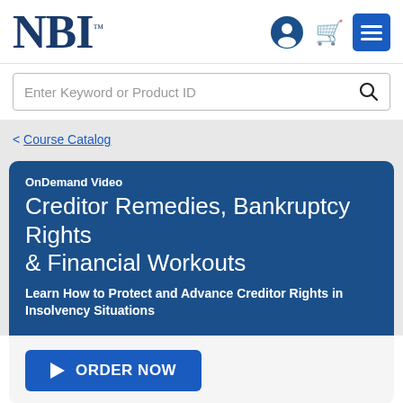NBI
Enter Keyword or Product ID
< Course Catalog
OnDemand Video
Creditor Remedies, Bankruptcy Rights & Financial Workouts
Learn How to Protect and Advance Creditor Rights in Insolvency Situations
ORDER NOW